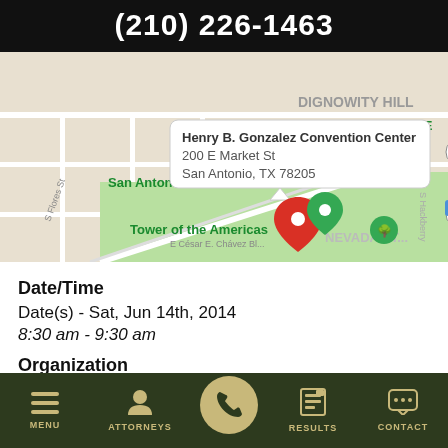(210) 226-1463
[Figure (map): Google Maps screenshot showing Henry B. Gonzalez Convention Center at 200 E Market St, San Antonio, TX 78205. Map shows San Antonio River Walk, Tower of the Americas, Highway 37, Dignowity Hill, and Nevada St areas with a red location pin marker.]
Date/Time
Date(s) - Sat, Jun 14th, 2014
8:30 am - 9:30 am
Organization
Location
MENU  ATTORNEYS  [phone]  RESULTS  CONTACT